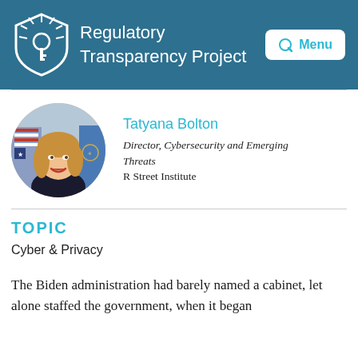Regulatory Transparency Project
[Figure (photo): Circular profile photo of Tatyana Bolton, a woman with blonde hair, smiling, with an American flag in the background]
Tatyana Bolton
Director, Cybersecurity and Emerging Threats
R Street Institute
TOPIC
Cyber & Privacy
The Biden administration had barely named a cabinet, let alone staffed the government, when it began